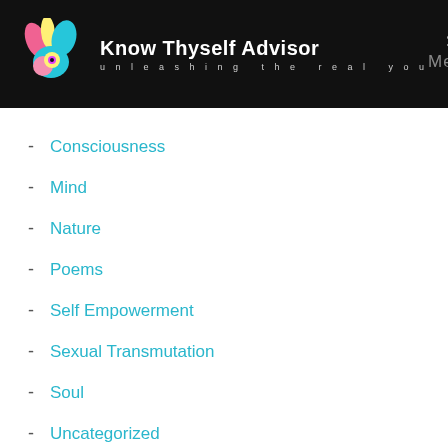Know Thyself Advisor — unleashing the real you — Menu
Consciousness
Mind
Nature
Poems
Self Empowerment
Sexual Transmutation
Soul
Uncategorized